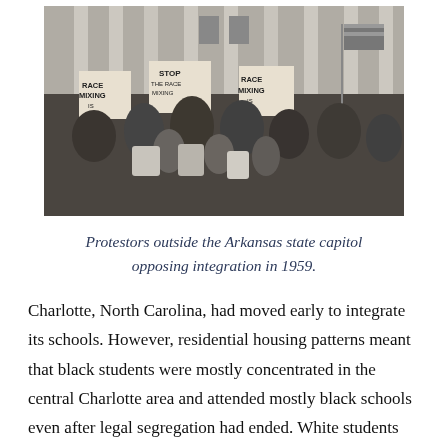[Figure (photo): Black and white photograph of protestors outside the Arkansas state capitol building, holding signs including 'Race Mixing Is Communist' and 'Stop the Race Mixing', with an American flag visible.]
Protestors outside the Arkansas state capitol opposing integration in 1959.
Charlotte, North Carolina, had moved early to integrate its schools. However, residential housing patterns meant that black students were mostly concentrated in the central Charlotte area and attended mostly black schools even after legal segregation had ended. White students mostly lived outside the center city and attended mostly white schools. The NAACP challenged these racially imbalanced